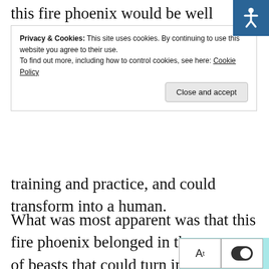this fire phoenix would be well above an A+ level
Privacy & Cookies: This site uses cookies. By continuing to use this website you agree to their use.
To find out more, including how to control cookies, see here: Cookie Policy
Close and accept
training and practice, and could transform into a human.
What was most apparent was that this fire phoenix belonged in the category of beasts that could turn into humans.
“I…it can’t be? Last time Xiao xiao and I came here we didn’t see a fire phoenix! If we saw it last time, then I would have been with Xiao Xiao, X Big Tailed Wolf tearing this place apart!”